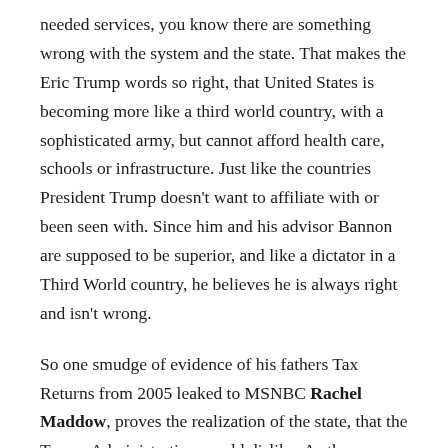needed services, you know there are something wrong with the system and the state. That makes the Eric Trump words so right, that United States is becoming more like a third world country, with a sophisticated army, but cannot afford health care, schools or infrastructure. Just like the countries President Trump doesn’t want to affiliate with or been seen with. Since him and his advisor Bannon are supposed to be superior, and like a dictator in a Third World country, he believes he is always right and isn’t wrong.
So one smudge of evidence of his fathers Tax Returns from 2005 leaked to MSNBC Rachel Maddow, proves the realization of the state, that the Trump Administration would dislike. As they are not capping the debt, neither talking into account their ideas of taxation and tax releases